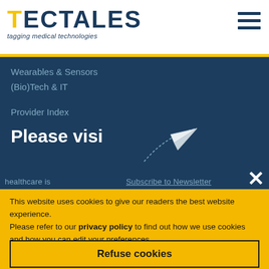[Figure (logo): TecTales logo with yellow T, dark blue text TALES, tagline 'tagging medical technologies']
[Figure (other): Hamburger menu icon (three horizontal lines)]
Wearables & Sensors
(Bio)Tech & IT
Provider Index
Please visi
[Figure (illustration): Paper plane illustration with dotted arc trajectory]
healthcare is
Subscribe to Newsletter
This website uses cookies to give our readers the best website experience.
Please refer to our privacy policy to find out how we use cookies and how you can edit your preferences.
Refuse cookies
Accept cookies